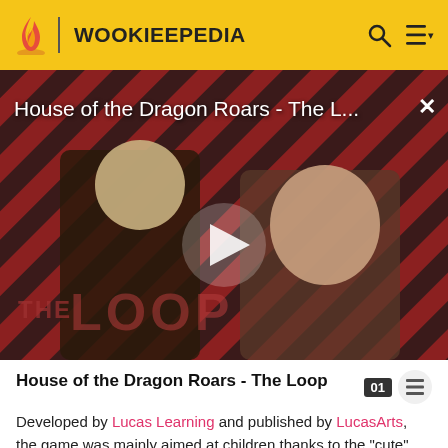WOOKIEEPEDIA
[Figure (screenshot): Video thumbnail for 'House of the Dragon Roars - The L...' showing two characters against a diagonal red and black striped background with 'THE LOOP' watermark and a play button overlay]
House of the Dragon Roars - The Loop
Developed by Lucas Learning and published by LucasArts, the game was mainly aimed at children thanks to the "cute" cartoon appearance of the characters and